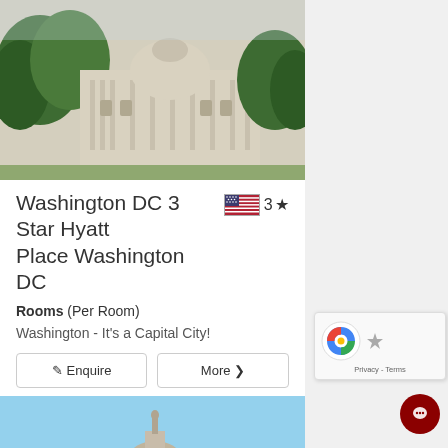[Figure (photo): Washington DC Capitol building exterior with trees, partial top view]
Washington DC 3 Star Hyatt Place Washington DC  3 ★
Rooms (Per Room)
Washington - It's a Capital City!
✎ Enquire | More ›
[Figure (photo): Washington DC Capitol building dome with blue sky and trees in foreground]